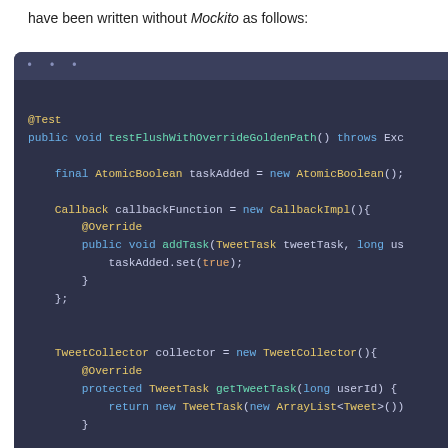have been written without Mockito as follows:
[Figure (screenshot): Dark-themed code editor screenshot showing Java test code. Contains @Test annotation, public void testFlushWithOverrideGoldenPath() method declaration with throws clause, final AtomicBoolean taskAdded = new AtomicBoolean(); declaration, Callback callbackFunction = new CallbackImpl(){ with @Override and public void addTask(TweetTask tweetTask, long us... method containing taskAdded.set(true); }, and TweetCollector collector = new TweetCollector(){ with @Override and protected TweetTask getTweetTask(long userId) { return new TweetTask(new ArrayList<Tweet>()) } block.]